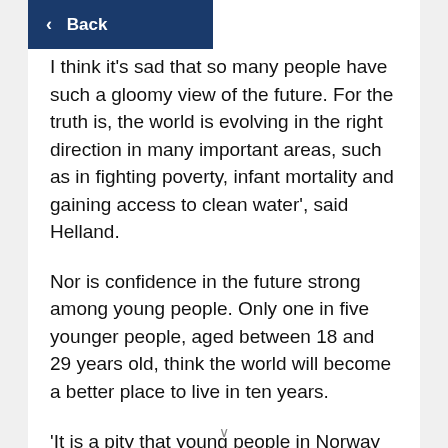< Back
I think it's sad that so many people have such a gloomy view of the future. For the truth is, the world is evolving in the right direction in many important areas, such as in fighting poverty, infant mortality and gaining access to clean water', said Helland.
Nor is confidence in the future strong among young people. Only one in five younger people, aged between 18 and 29 years old, think the world will become a better place to live in ten years.
'It is a pity that young people in Norway are not